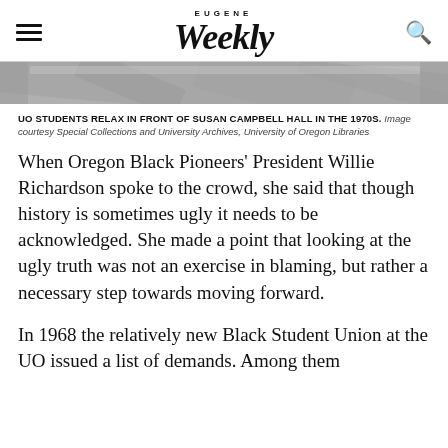EUGENE Weekly
[Figure (photo): Black and white photograph of UO students relaxing in front of Susan Campbell Hall in the 1970s]
UO STUDENTS RELAX IN FRONT OF SUSAN CAMPBELL HALL IN THE 1970S. Image courtesy Special Collections and University Archives, University of Oregon Libraries
When Oregon Black Pioneers' President Willie Richardson spoke to the crowd, she said that though history is sometimes ugly it needs to be acknowledged. She made a point that looking at the ugly truth was not an exercise in blaming, but rather a necessary step towards moving forward.
In 1968 the relatively new Black Student Union at the UO issued a list of demands. Among them